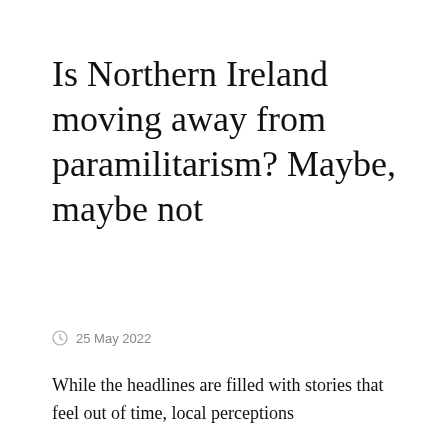Is Northern Ireland moving away from paramilitarism? Maybe, maybe not
25 May 2022
While the headlines are filled with stories that feel out of time, local perceptions